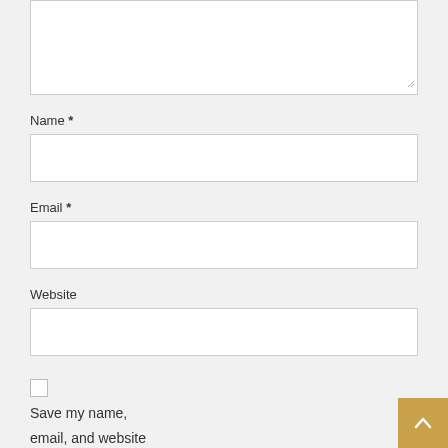[Figure (screenshot): Textarea input box (top portion visible, partially cut off at top)]
Name *
[Figure (screenshot): Name text input field (empty)]
Email *
[Figure (screenshot): Email text input field (empty)]
Website
[Figure (screenshot): Website text input field (empty)]
Save my name, email, and website in this browser for
[Figure (screenshot): Scroll-to-top button (golden/tan colored square with upward arrow)]